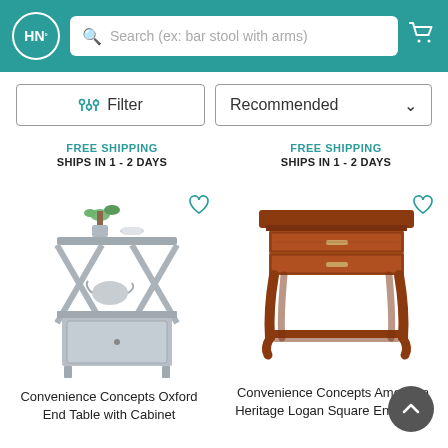HN° | Search (ex: bar stool with arms)
Filter | Recommended
FREE SHIPPING
SHIPS IN 1 - 2 DAYS
FREE SHIPPING
SHIPS IN 1 - 2 DAYS
[Figure (photo): Gray end table with X-frame sides, lower open shelf and closed cabinet door, with plant and cup on top]
[Figure (photo): Brown cherry finish square end table with two drawers and lower shelf, curved legs]
Convenience Concepts Oxford End Table with Cabinet
Convenience Concepts American Heritage Logan Square End Table